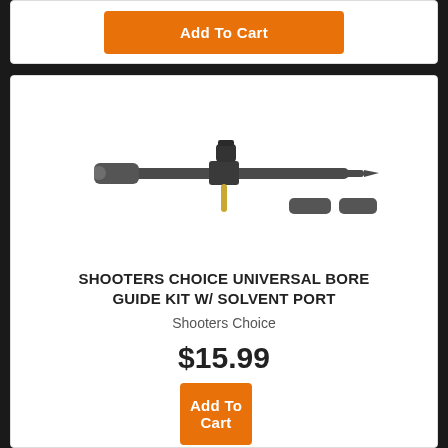[Figure (photo): Orange Add To Cart button in a white card at the top of the page]
[Figure (photo): Shooters Choice Universal Bore Guide Kit with solvent port - product photo showing a black rod with adapters and a gold pin component on white background]
SHOOTERS CHOICE UNIVERSAL BORE GUIDE KIT W/ SOLVENT PORT
Shooters Choice
$15.99
[Figure (other): Orange Add To Cart button]